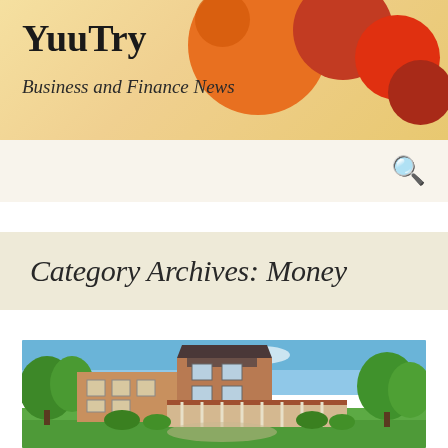YuuTry
Business and Finance News
[Figure (photo): A large Victorian-style brick mansion with a wrap-around porch, slate roof with dormers, surrounded by green lawn and trees on a sunny day.]